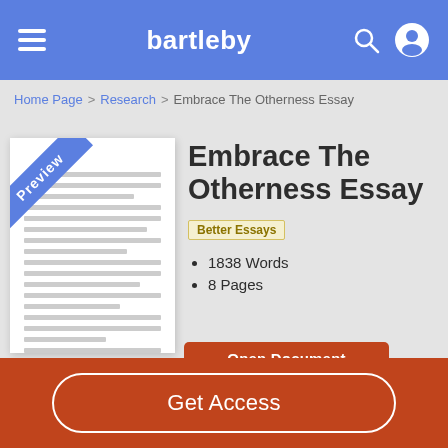bartleby
Home Page > Research > Embrace The Otherness Essay
[Figure (illustration): Preview thumbnail of a document page with a blue diagonal 'Preview' badge in the top-left corner, and horizontal lines representing text]
Embrace The Otherness Essay
Better Essays
1838 Words
8 Pages
Open Document
Get Access